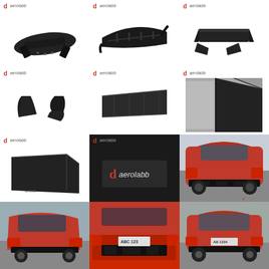[Figure (photo): Aerolabb rear diffuser part, black plastic, top view with hardware]
[Figure (photo): Aerolabb rear diffuser part, black plastic, side/angled view]
[Figure (photo): Aerolabb rear diffuser set with side spats, black plastic]
[Figure (photo): Aerolabb side splitter/canard parts, black plastic, pair]
[Figure (photo): Aerolabb rear diffuser main piece, angled view]
[Figure (photo): Aerolabb diffuser close-up corner detail, black]
[Figure (photo): Aerolabb large flat diffuser panel, angled view]
[Figure (photo): Aerolabb brand logo close-up on matte black surface]
[Figure (photo): Red VW Golf MK7 GTI rear view with Aerolabb diffuser installed, on track]
[Figure (photo): Red VW Golf MK7 GTI rear 3/4 view with diffuser, on road]
[Figure (photo): Red VW Golf MK7 close-up rear bumper with Aerolabb diffuser, license plate visible]
[Figure (photo): Red VW Golf MK7 rear view with Aerolabb diffuser, on road]